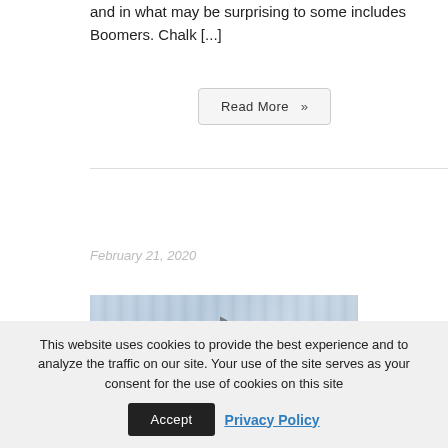and in what may be surprising to some includes Boomers. Chalk [...]
Read More »
February 21, 2020
[Figure (photo): A muted blue-grey photograph strip showing what appears to be a landscape or architectural scene with a small dark bird silhouette visible.]
This website uses cookies to provide the best experience and to analyze the traffic on our site. Your use of the site serves as your consent for the use of cookies on this site
Accept
Privacy Policy